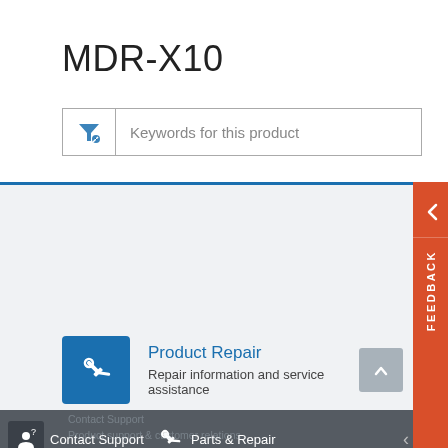MDR-X10
[Figure (screenshot): Search filter box with funnel icon and placeholder text 'Keywords for this product']
[Figure (screenshot): Product Repair section with wrench icon, title 'Product Repair', description 'Repair information and service assistance', and a chevron up button]
Contact Support   Parts & Repair